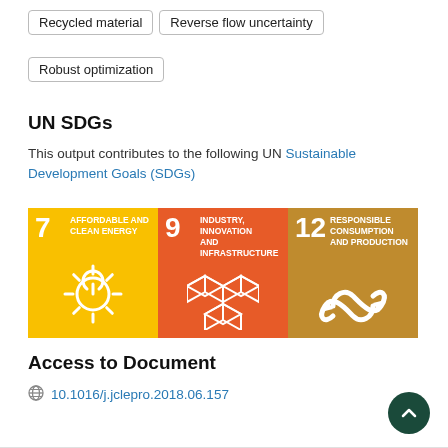Recycled material
Reverse flow uncertainty
Robust optimization
UN SDGs
This output contributes to the following UN Sustainable Development Goals (SDGs)
[Figure (infographic): Three UN SDG icons: SDG 7 Affordable and Clean Energy (yellow), SDG 9 Industry, Innovation and Infrastructure (orange), SDG 12 Responsible Consumption and Production (gold/brown)]
Access to Document
10.1016/j.jclepro.2018.06.157